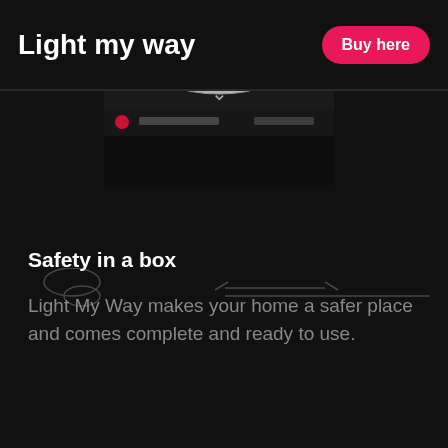Light my way
[Figure (screenshot): Product image thumbnail showing a white/gray device on dark background with a video overlay bar]
Buy here
Safety in a box
Light My Way makes your home a safer place and comes complete and ready to use.
[Figure (illustration): Faint sketch-like line drawings at bottom of page, partially visible]